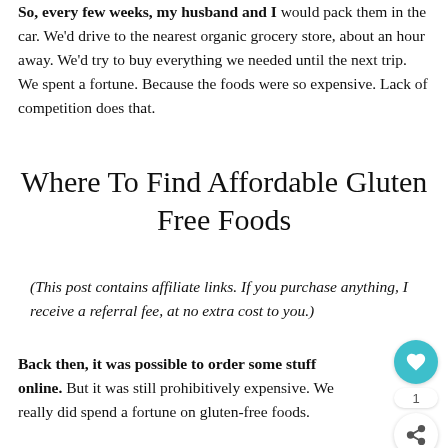So, every few weeks, my husband and I would pack them in the car. We'd drive to the nearest organic grocery store, about an hour away. We'd try to buy everything we needed until the next trip. We spent a fortune. Because the foods were so expensive. Lack of competition does that.
Where To Find Affordable Gluten Free Foods
(This post contains affiliate links. If you purchase anything, I receive a referral fee, at no extra cost to you.)
Back then, it was possible to order some stuff online. But it was still prohibitively expensive. We really did spend a fortune on gluten-free foods.